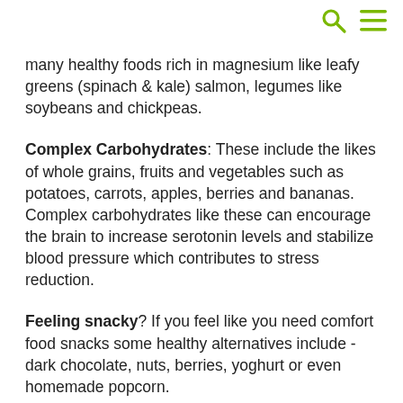🔍 ☰
many healthy foods rich in magnesium like leafy greens (spinach & kale) salmon, legumes like soybeans and chickpeas.
Complex Carbohydrates: These include the likes of whole grains, fruits and vegetables such as potatoes, carrots, apples, berries and bananas. Complex carbohydrates like these can encourage the brain to increase serotonin levels and stabilize blood pressure which contributes to stress reduction.
Feeling snacky? If you feel like you need comfort food snacks some healthy alternatives include - dark chocolate, nuts, berries, yoghurt or even homemade popcorn.
Ensure you eat regular meals, have healthy snacks on hand, have a routine, eat mindfully and of course be flexible when needed. (It's OK to have that glass of wine or go out for a pizza) - everything in moderation.